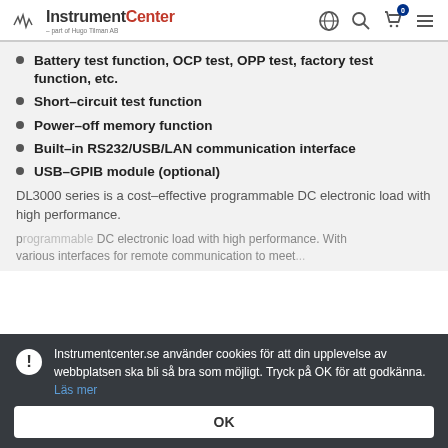InstrumentCenter - part of Hugo Tilman AB
Battery test function, OCP test, OPP test, factory test function, etc.
Short-circuit test function
Power-off memory function
Built-in RS232/USB/LAN communication interface
USB-GPIB module (optional)
DL3000 series is a cost-effective programmable DC electronic load with high performance.
Instrumentcenter.se använder cookies för att din upplevelse av webbplatsen ska bli så bra som möjligt. Tryck på OK för att godkänna. Läs mer
OK